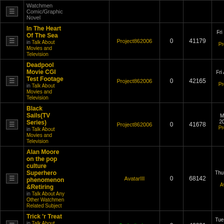|  | Topic | Author | Replies | Views | Last Post |
| --- | --- | --- | --- | --- | --- |
| [icon] | Watchmen Comic/Graphic Novel |  |  |  |  |
| [icon] | In The Heart Of The Sea
in Talk About Movies and Television | Project862006 | 0 | 41179 | Fri Oct 17, 2014 6:53 am
Project862006 |
| [icon] | Deadpool Movie CGI Test Footage
in Talk About Movies and Television | Project862006 | 0 | 42165 | Fri Aug 01, 2014 8:27 am
Project862006 |
| [icon] | Black Sails(TV Series)
in Talk About Movies and Television | Project862006 | 0 | 41678 | Mon May 26, 2014 7:21 am
Project862006 |
| [icon] | Alan Moore on the pop culture Superhero phenomenon &Retiring
in Talk About Any Other Watchmen Related Subject | AvatarIII | 0 | 68142 | Thu Jan 23, 2014 3:54 am
AvatarIII |
| [icon] | Trick 'r Treat
in Talk About Movies and Television | Curiosity Inc. | 0 | 42221 | Tue Oct 29, 2013 12:55 am
Curiosity Inc. |